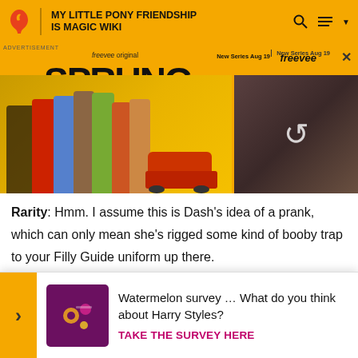MY LITTLE PONY FRIENDSHIP IS MAGIC WIKI
[Figure (screenshot): Advertisement for Freevee Original series 'SPRUNG' on yellow background, showing cast of characters and a video thumbnail of two people in a car. Shows 'New Series Aug 19 | freevee' text.]
Rarity: Hmm. I assume this is Dash's idea of a prank, which can only mean she's rigged some kind of booby trap to your Filly Guide uniform up there.
Sweetie Belle: So how do we get it down?
Rarity: We don't. If Dash thinks I'm going to fall for whatever she's got in mind, she's got another thing coming from! [splat
[Figure (screenshot): Popup survey widget: yellow arrow on left, purple survey image icon, text 'Watermelon survey … What do you think about Harry Styles?' with CTA 'TAKE THE SURVEY HERE' in pink/magenta bold text.]